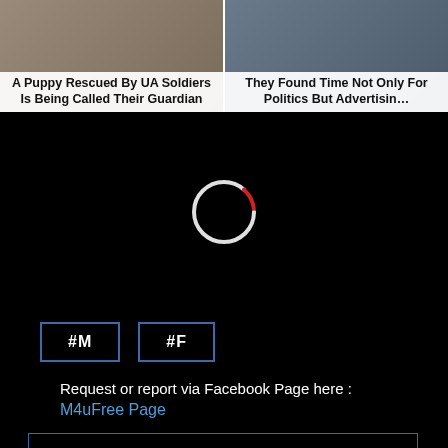[Figure (photo): Two article cards side by side. Left card: 'A Puppy Rescued By UA Soldiers Is Being Called Their Guardian'. Right card: 'They Found Time Not Only For Politics But Advertising']
[Figure (screenshot): Black video player area with a loading spinner (circle, white with red segment)]
#M
#F
Request or report via Facebook Page here :
M4uFree Page
[Figure (other): Empty blue-bordered rectangle at the bottom]